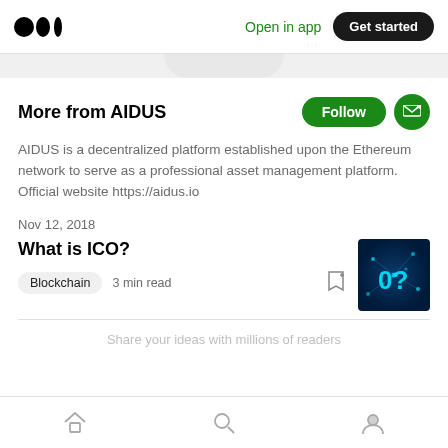Open in app   Get started
More from AIDUS
AIDUS is a decentralized platform established upon the Ethereum network to serve as a professional asset management platform. Official website https://aidus.io
Nov 12, 2018
What is ICO?
Blockchain   3 min read
[Figure (photo): Thumbnail image for 'What is ICO?' article showing a blue glowing network/blockchain background with '0?' text overlay]
Home  Search  Profile navigation icons